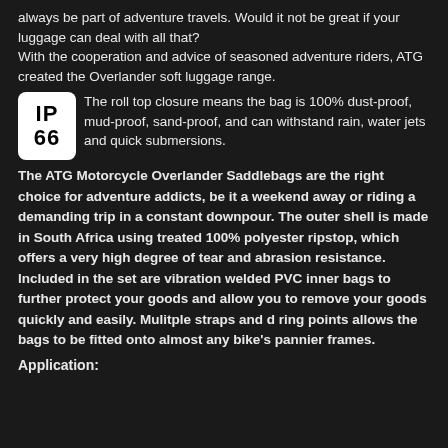always be part of adventure travels. Would it not be great if your luggage can deal with all that?
With the cooperation and advice of seasoned adventure riders, ATG created the Overlander soft luggage range.
[Figure (logo): IP 66 certification badge — white rounded rectangle with bold black text reading IP on top line and 66 on bottom line]
The roll top closure means the bag is 100% dust-proof, mud-proof, sand-proof, and can withstand rain, water jets and quick submersions.
The ATG Motorcycle Overlander Saddlebags are the right choice for adventure addicts, be it a weekend away or riding a demanding trip in a constant downpour. The outer shell is made in South Africa using treated 100% polyester ripstop, which offers a very high degree of tear and abrasion resistance. Included in the set are vibration welded PVC inner bags to further protect your goods and allow you to remove your goods quickly and easily. Mulitple straps and d ring points allows the bags to be fitted onto almost any bike's pannier frames.
Application: